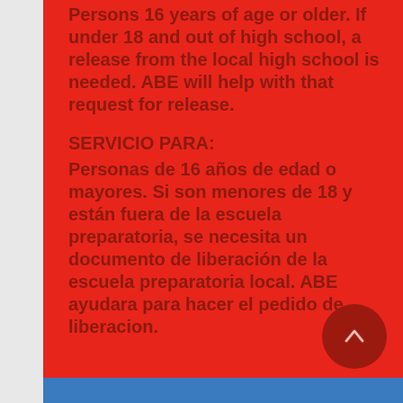Persons 16 years of age or older. If under 18 and out of high school, a release from the local high school is needed. ABE will help with that request for release.
SERVICIO PARA:
Personas de 16 años de edad o mayores. Si son menores de 18 y están fuera de la escuela preparatoria, se necesita un documento de liberación de la escuela preparatoria local. ABE ayudara para hacer el pedido de liberacion.